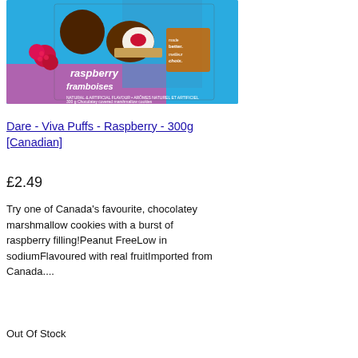[Figure (photo): Product image of Dare Viva Puffs Raspberry 300g box showing chocolate-covered marshmallow cookies with raspberries on a blue background, with 'raspberry framboises' text and 'made better' label]
Dare - Viva Puffs - Raspberry - 300g [Canadian]
£2.49
Try one of Canada's favourite, chocolatey marshmallow cookies with a burst of raspberry filling!Peanut FreeLow in sodiumFlavoured with real fruitImported from Canada....
Out Of Stock